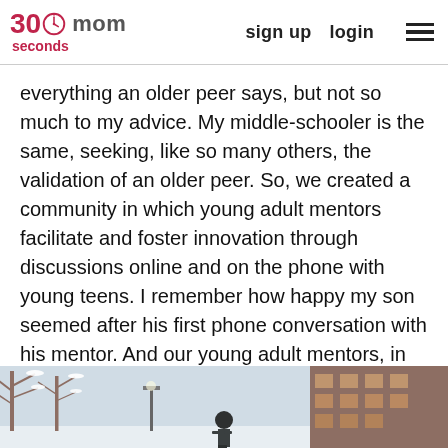30seconds mom | sign up | login
everything an older peer says, but not so much to my advice. My middle-schooler is the same, seeking, like so many others, the validation of an older peer. So, we created a community in which young adult mentors facilitate and foster innovation through discussions online and on the phone with young teens. I remember how happy my son seemed after his first phone conversation with his mentor. And our young adult mentors, in turn, have also found a renewed sense of purpose through providing guidance to their young peers.
[Figure (photo): Outdoor winter scene with snow-covered trees on the left, a building on the right, and a person figure in the center foreground.]